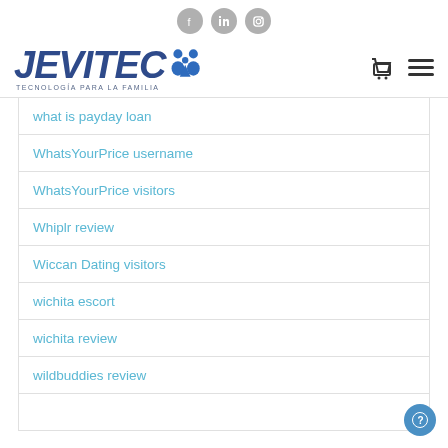[Figure (logo): Social media icons (Facebook, LinkedIn, Instagram) at top center]
[Figure (logo): JEVITEC logo with tagline TECNOLOGÍA PARA LA FAMILIA and navigation icons]
what is payday loan
WhatsYourPrice username
WhatsYourPrice visitors
Whiplr review
Wiccan Dating visitors
wichita escort
wichita review
wildbuddies review